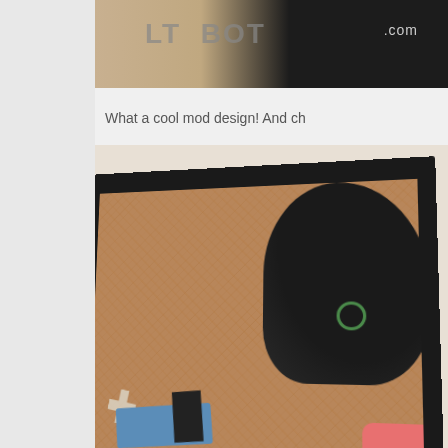[Figure (photo): Partial view of a framed felt art piece showing a character with dark hair on a cork background, with colorful felt elements including blue, black, white cross, pink, and green circle shapes. The frame is black. Visible at top is a partial logo reading 'LT BOT.com' on a dark background.]
What a cool mod design! And ch